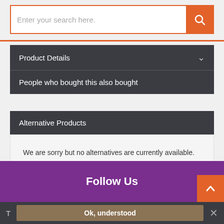Enter your search here.
Product Details
People who bought this also bought
Alternative Products
We are sorry but no alternatives are currently available.
Follow Us
Ok, understood